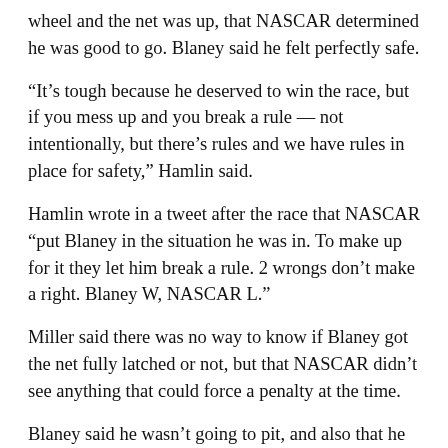wheel and the net was up, that NASCAR determined he was good to go. Blaney said he felt perfectly safe.
“It’s tough because he deserved to win the race, but if you mess up and you break a rule — not intentionally, but there’s rules and we have rules in place for safety,” Hamlin said.
Hamlin wrote in a tweet after the race that NASCAR “put Blaney in the situation he was in. To make up for it they let him break a rule. 2 wrongs don’t make a right. Blaney W, NASCAR L.”
Miller said there was no way to know if Blaney got the net fully latched or not, but that NASCAR didn’t see anything that could force a penalty at the time.
Blaney said he wasn’t going to pit, and also that he understood Hamlin’s frustration.
“But it’s just a product of running second compared to